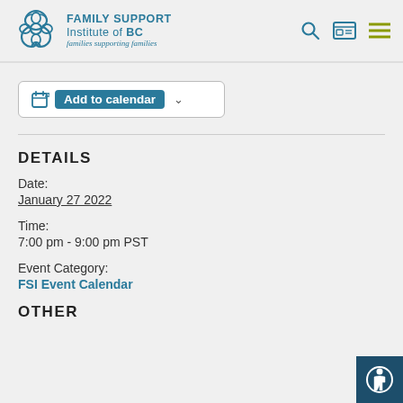[Figure (logo): Family Support Institute of BC logo with celtic knot icon and tagline 'families supporting families']
[Figure (other): Add to calendar button with calendar icon and dropdown arrow]
DETAILS
Date:
January 27 2022
Time:
7:00 pm - 9:00 pm PST
Event Category:
FSI Event Calendar
OTHER